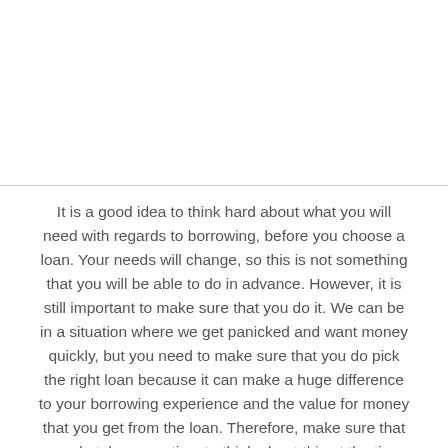It is a good idea to think hard about what you will need with regards to borrowing, before you choose a loan. Your needs will change, so this is not something that you will be able to do in advance. However, it is still important to make sure that you do it. We can be in a situation where we get panicked and want money quickly, but you need to make sure that you do pick the right loan because it can make a huge difference to your borrowing experience and the value for money that you get from the loan. Therefore, make sure that you do take some time to think about this at the time when